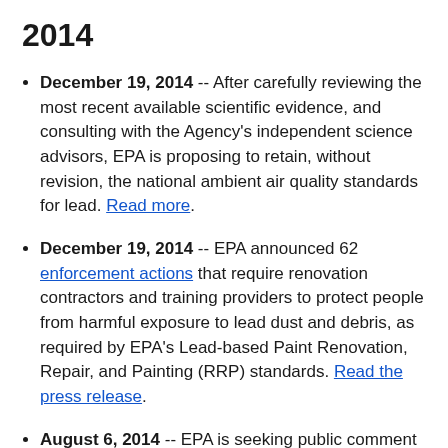2014
December 19, 2014 -- After carefully reviewing the most recent available scientific evidence, and consulting with the Agency's independent science advisors, EPA is proposing to retain, without revision, the national ambient air quality standards for lead. Read more.
December 19, 2014 -- EPA announced 62 enforcement actions that require renovation contractors and training providers to protect people from harmful exposure to lead dust and debris, as required by EPA's Lead-based Paint Renovation, Repair, and Painting (RRP) standards. Read the press release.
August 6, 2014 -- EPA is seeking public comment on the “Approach for Estimating Exposures and